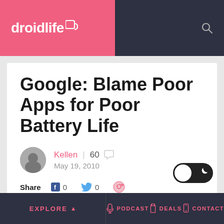droidlife
Google: Blame Poor Apps for Poor Battery Life
Kellen | 60 comments | May 19, 2010
Share 0 0
We may earn a commission when you click links to retailers and purchase goods. More info.
Explore | Podcast | Deals | Contact